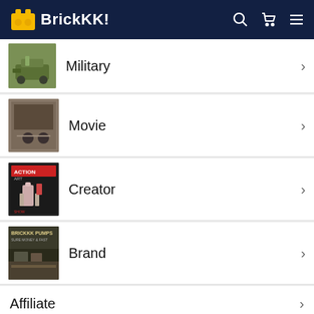BrickKK!
Military
Movie
Creator
Brand
Affiliate
Brickkk™
Information
PRIVACY POLICY
REFUND POLICY
SHIPPING POLICY